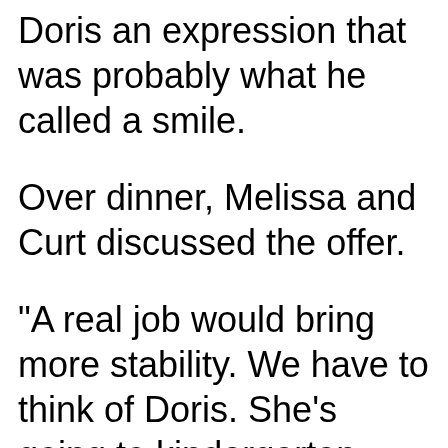Doris an expression that was probably what he called a smile.
Over dinner, Melissa and Curt discussed the offer.
"A real job would bring more stability. We have to think of Doris. She's going to kindergarten